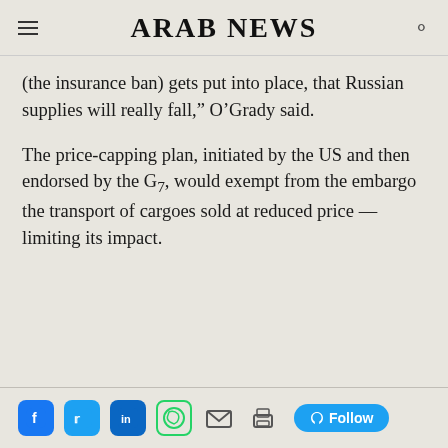ARAB NEWS
(the insurance ban) gets put into place, that Russian supplies will really fall,” O’Grady said.
The price-capping plan, initiated by the US and then endorsed by the G7, would exempt from the embargo the transport of cargoes sold at reduced price — limiting its impact.
Social share bar: Facebook, Twitter, LinkedIn, WhatsApp, Email, Print, Follow on Twitter